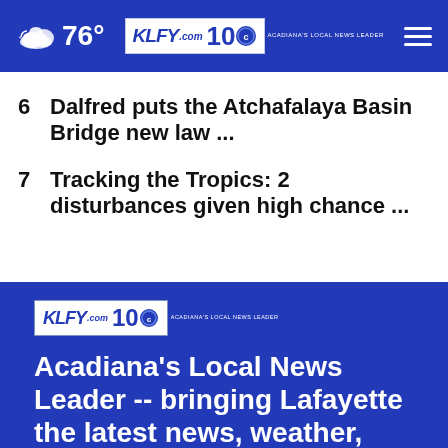76° KLFY.com 10
6  Dalfred puts the Atchafalaya Basin Bridge new law ...
7  Tracking the Tropics: 2 disturbances given high chance ...
[Figure (logo): KLFY.com 10 logo - Acadiana's Local News Leader]
Acadiana's Local News Leader -- bringing Lafayette the latest news, weather, sports and